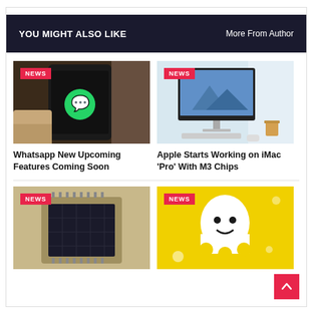YOU MIGHT ALSO LIKE | More From Author
[Figure (photo): Hand holding a smartphone displaying WhatsApp logo with NEWS badge overlay]
Whatsapp New Upcoming Features Coming Soon
[Figure (photo): iMac desktop computer on a desk with NEWS badge overlay]
Apple Starts Working on iMac ‘Pro’ With M3 Chips
[Figure (photo): CPU processor chip with NEWS badge overlay]
[Figure (photo): Snapchat ghost logo on yellow background with NEWS badge overlay]